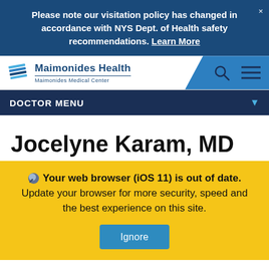Please note our visitation policy has changed in accordance with NYS Dept. of Health safety recommendations. Learn More
[Figure (logo): Maimonides Health / Maimonides Medical Center logo with stylized stripe icon]
[Figure (infographic): Search icon (magnifying glass) and hamburger menu icon in top right of navbar]
DOCTOR MENU
Jocelyne Karam, MD
Your web browser (iOS 11) is out of date. Update your browser for more security, speed and the best experience on this site.
Ignore